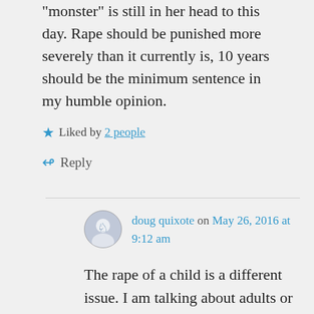“monster” is still in her head to this day. Rape should be punished more severely than it currently is, 10 years should be the minimum sentence in my humble opinion.
★ Liked by 2 people
↳ Reply
doug quixote on May 26, 2016 at 9:12 am
The rape of a child is a different issue. I am talking about adults or near-adults; sorry if that wasn't clear. Adults should be able to deal with the psychological issues in a way you can't expect from a child